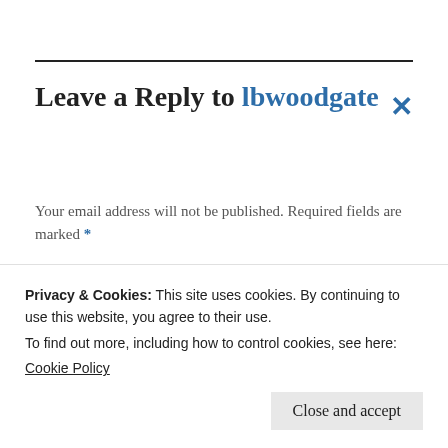Leave a Reply to lbwoodgate ×
Your email address will not be published. Required fields are marked *
COMMENT *
Privacy & Cookies: This site uses cookies. By continuing to use this website, you agree to their use.
To find out more, including how to control cookies, see here: Cookie Policy
Close and accept